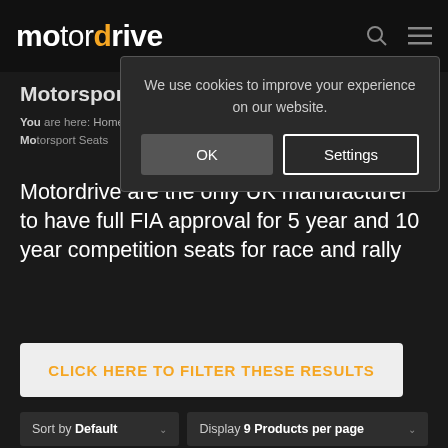motordrive — navigation header with search and menu icons
We use cookies to improve your experience on our website.
OK | Settings
Motorsport Seats
You are here: Home / Motordrive product range / Motorsport Seats
Motordrive are the only UK manufacturer to have full FIA approval for 5 year and 10 year competition seats for race and rally
CLICK HERE TO FILTER THESE RESULTS
Sort by Default   Display 9 Products per page